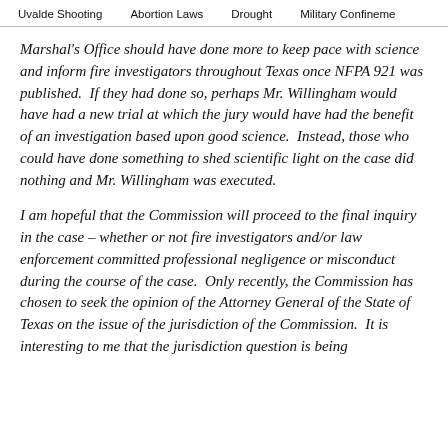Uvalde Shooting   Abortion Laws   Drought   Military Confinement
Marshal's Office should have done more to keep pace with science and inform fire investigators throughout Texas once NFPA 921 was published.  If they had done so, perhaps Mr. Willingham would have had a new trial at which the jury would have had the benefit of an investigation based upon good science.  Instead, those who could have done something to shed scientific light on the case did nothing and Mr. Willingham was executed.
I am hopeful that the Commission will proceed to the final inquiry in the case – whether or not fire investigators and/or law enforcement committed professional negligence or misconduct during the course of the case.  Only recently, the Commission has chosen to seek the opinion of the Attorney General of the State of Texas on the issue of the jurisdiction of the Commission.  It is interesting to me that the jurisdiction question is being